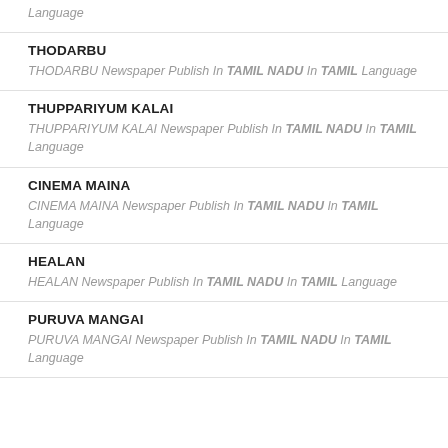Language
THODARBU
THODARBU Newspaper Publish In TAMIL NADU In TAMIL Language
THUPPARIYUM KALAI
THUPPARIYUM KALAI Newspaper Publish In TAMIL NADU In TAMIL Language
CINEMA MAINA
CINEMA MAINA Newspaper Publish In TAMIL NADU In TAMIL Language
HEALAN
HEALAN Newspaper Publish In TAMIL NADU In TAMIL Language
PURUVA MANGAI
PURUVA MANGAI Newspaper Publish In TAMIL NADU In TAMIL Language